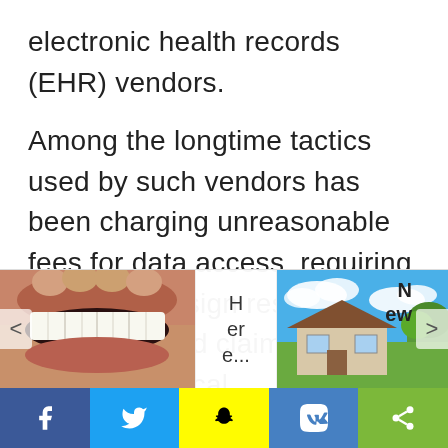electronic health records (EHR) vendors.
Among the longtime tactics used by such vendors has been charging unreasonable fees for data access, requiring providers to sign restrictive contracts, and claiming patients' clinical
[Figure (photo): Advertisement overlay showing a close-up photo of teeth/mouth on the left, text 'Here...' in center, and a photo of a house with blue sky on the right, with navigation arrows]
[Figure (infographic): Social media sharing bar with Facebook (blue), Twitter (light blue), Snapchat (yellow), VK (blue), and share (green) buttons]